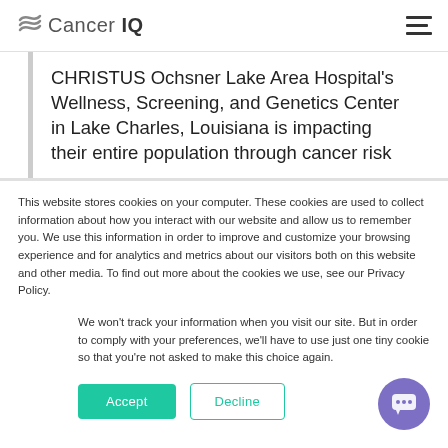Cancer IQ
CHRISTUS Ochsner Lake Area Hospital's Wellness, Screening, and Genetics Center in Lake Charles, Louisiana is impacting their entire population through cancer risk
This website stores cookies on your computer. These cookies are used to collect information about how you interact with our website and allow us to remember you. We use this information in order to improve and customize your browsing experience and for analytics and metrics about our visitors both on this website and other media. To find out more about the cookies we use, see our Privacy Policy.
We won't track your information when you visit our site. But in order to comply with your preferences, we'll have to use just one tiny cookie so that you're not asked to make this choice again.